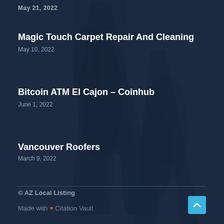May 21, 2022
Magic Touch Carpet Repair And Cleaning
May 10, 2022
Bitcoin ATM El Cajon – Coinhub
June 1, 2022
Vancouver Roofers
March 9, 2022
© AZ Local Listing
Made with ❤ Citation Vault